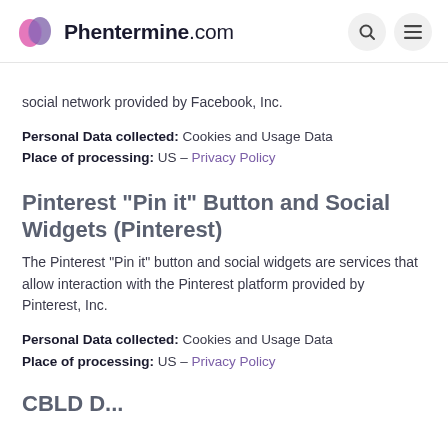Phentermine.com
social network provided by Facebook, Inc.
Personal Data collected: Cookies and Usage Data
Place of processing: US – Privacy Policy
Pinterest “Pin it” Button and Social Widgets (Pinterest)
The Pinterest “Pin it” button and social widgets are services that allow interaction with the Pinterest platform provided by Pinterest, Inc.
Personal Data collected: Cookies and Usage Data
Place of processing: US – Privacy Policy
CBLD D...